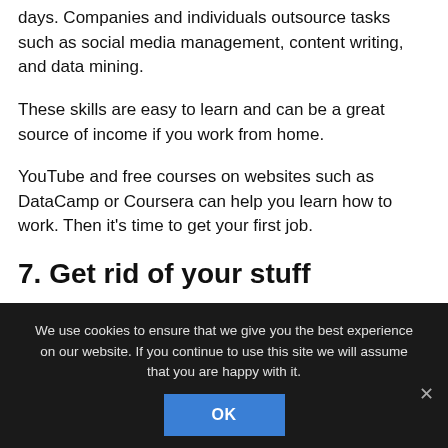days. Companies and individuals outsource tasks such as social media management, content writing, and data mining.
These skills are easy to learn and can be a great source of income if you work from home.
YouTube and free courses on websites such as DataCamp or Coursera can help you learn how to work. Then it’s time to get your first job.
7. Get rid of your stuff
We use cookies to ensure that we give you the best experience on our website. If you continue to use this site we will assume that you are happy with it.